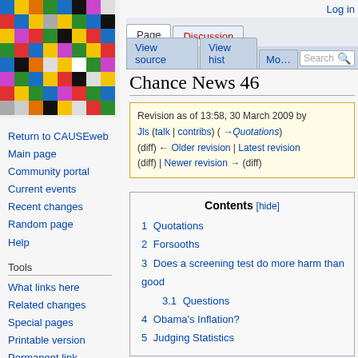[Figure (illustration): Wikipedia colorful mosaic logo made of small colored squares]
Log in
Page | Discussion | View source | View hist | More | Search
Chance News 46
Revision as of 13:58, 30 March 2009 by Jls (talk | contribs) (→Quotations) (diff) ← Older revision | Latest revision (diff) | Newer revision → (diff)
| # | Section |
| --- | --- |
| 1 | Quotations |
| 2 | Forsooths |
| 3 | Does a screening test do more harm than good |
| 3.1 | Questions |
| 4 | Obama's Inflation? |
| 5 | Judging Statistics |
Return to CAUSEweb
Main page
Community portal
Current events
Recent changes
Random page
Help
Tools
What links here
Related changes
Special pages
Printable version
Permanent link